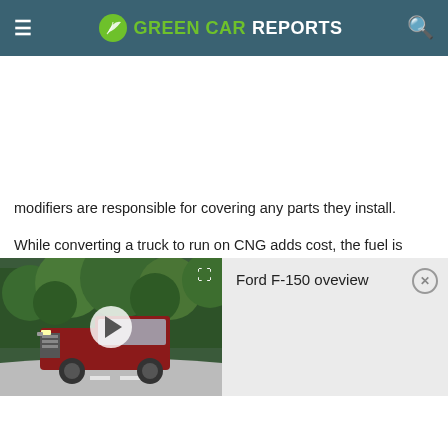GREEN CAR REPORTS
modifiers are responsible for covering any parts they install.
While converting a truck to run on CNG adds cost, the fuel is typically cheaper than gasoline.
[Figure (screenshot): Video widget showing a Ford F-150 driving on a road, with a play button overlay and expand icon. Right panel shows title 'Ford F-150 oveview' with a close button.]